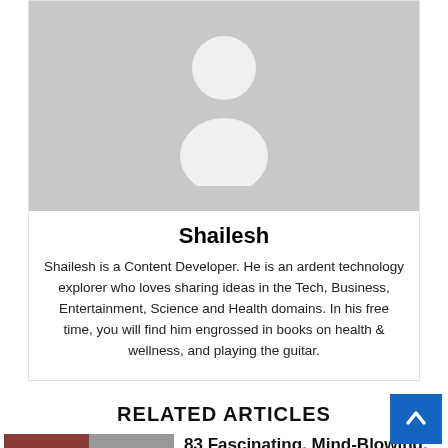[Figure (illustration): Gray placeholder avatar image with a person silhouette (circle head and body shape) on a gray rectangle background]
Shailesh
Shailesh is a Content Developer. He is an ardent technology explorer who loves sharing ideas in the Tech, Business, Entertainment, Science and Health domains. In his free time, you will find him engrossed in books on health & wellness, and playing the guitar.
RELATED ARTICLES
[Figure (photo): Two thumbnail images side by side: left shows a person on reddish background, right shows a flag-like striped image on gray background]
83 Fascinating, Mind-Blowing, And Truly Unforgettable Facts |